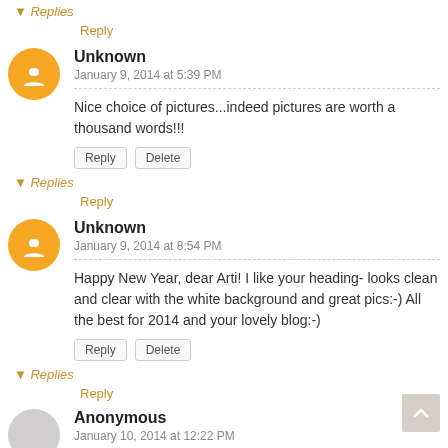▾ Replies
Reply
Unknown
January 9, 2014 at 5:39 PM
Nice choice of pictures...indeed pictures are worth a thousand words!!!
Reply   Delete
▾ Replies
Reply
Unknown
January 9, 2014 at 8:54 PM
Happy New Year, dear Arti! I like your heading- looks clean and clear with the white background and great pics:-) All the best for 2014 and your lovely blog:-)
Reply   Delete
▾ Replies
Reply
Anonymous
January 10, 2014 at 12:22 PM